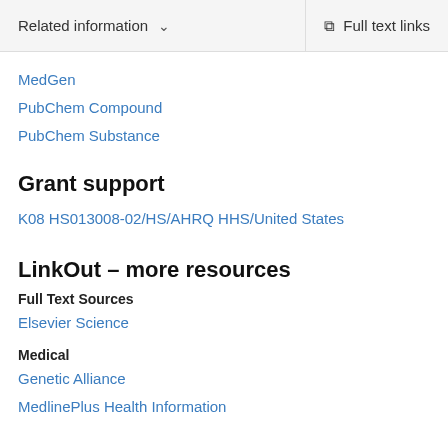Related information   Full text links
MedGen
PubChem Compound
PubChem Substance
Grant support
K08 HS013008-02/HS/AHRQ HHS/United States
LinkOut – more resources
Full Text Sources
Elsevier Science
Medical
Genetic Alliance
MedlinePlus Health Information